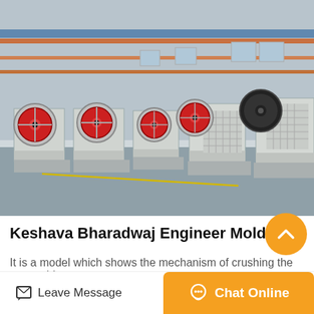[Figure (photo): Industrial factory floor showing multiple jaw crusher machines lined up in a large manufacturing facility with red overhead gantry cranes and steel frame structure. Machines have large red and black flywheels.]
Keshava Bharadwaj Engineer Mold Operations C
It is a model which shows the mechanism of crushing the stone. this
Leave Message
Chat Online